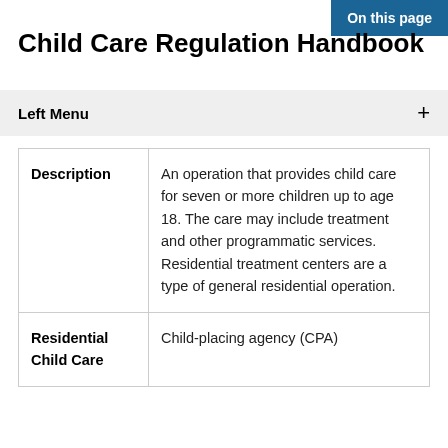On this page
Child Care Regulation Handbook
Left Menu
|  |  |
| --- | --- |
| Description | An operation that provides child care for seven or more children up to age 18. The care may include treatment and other programmatic services. Residential treatment centers are a type of general residential operation. |
| Residential Child Care | Child-placing agency (CPA) |